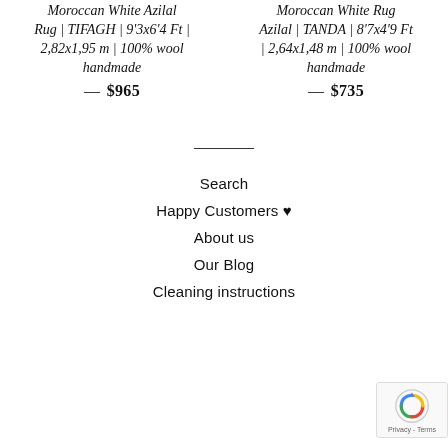Moroccan White Azilal Rug | TIFAGH | 9'3x6'4 Ft | 2,82x1,95 m | 100% wool handmade
— $965
Moroccan White Rug Azilal | TANDA | 8'7x4'9 Ft | 2,64x1,48 m | 100% wool handmade
— $735
Search
Happy Customers ♥
About us
Our Blog
Cleaning instructions